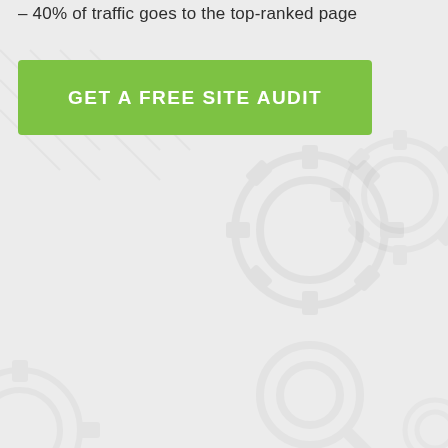– 40% of traffic goes to the top-ranked page
[Figure (illustration): Decorative background with faint gear/cog icons and a magnifying glass icon arranged across the page on a light gray background]
GET A FREE SITE AUDIT